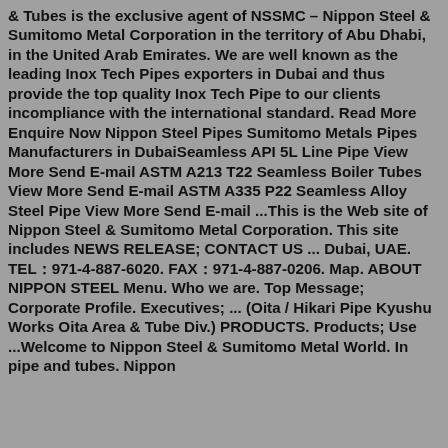& Tubes is the exclusive agent of NSSMC – Nippon Steel & Sumitomo Metal Corporation in the territory of Abu Dhabi, in the United Arab Emirates. We are well known as the leading Inox Tech Pipes exporters in Dubai and thus provide the top quality Inox Tech Pipe to our clients incompliance with the international standard. Read More Enquire Now Nippon Steel Pipes Sumitomo Metals Pipes Manufacturers in DubaiSeamless API 5L Line Pipe View More Send E-mail ASTM A213 T22 Seamless Boiler Tubes View More Send E-mail ASTM A335 P22 Seamless Alloy Steel Pipe View More Send E-mail ...This is the Web site of Nippon Steel & Sumitomo Metal Corporation. This site includes NEWS RELEASE; CONTACT US ... Dubai, UAE. TEL：971-4-887-6020. FAX：971-4-887-0206. Map. ABOUT NIPPON STEEL Menu. Who we are. Top Message; Corporate Profile. Executives; ... (Oita / Hikari Pipe Kyushu Works Oita Area & Tube Div.) PRODUCTS. Products; Use ...Welcome to Nippon Steel & Sumitomo Metal World. In pipe and tubes. Nippon